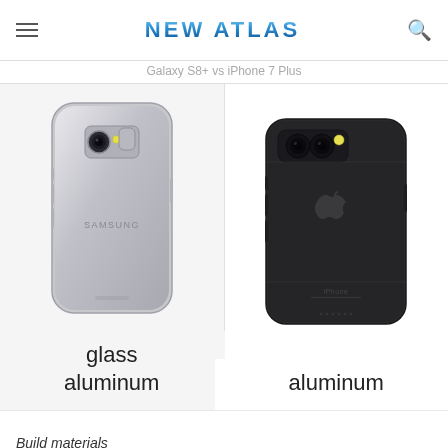NEW ATLAS
[Figure (photo): Back view of Samsung Galaxy S8 smartphone in silver/aluminum color]
glass
aluminum
[Figure (photo): Back view of iPhone 7 Plus smartphone in matte black/space gray color]
aluminum
Build materials